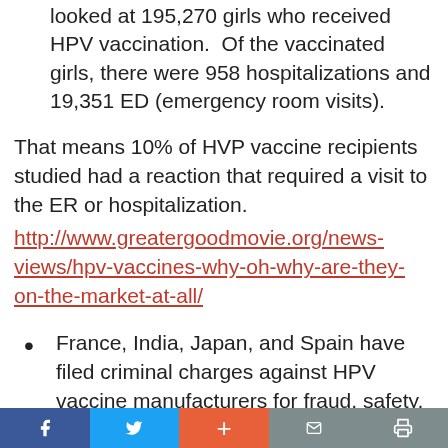looked at 195,270 girls who received HPV vaccination. Of the vaccinated girls, there were 958 hospitalizations and 19,351 ED (emergency room visits).
That means 10% of HVP vaccine recipients studied had a reaction that required a visit to the ER or hospitalization. http://www.greatergoodmovie.org/news-views/hpv-vaccines-why-oh-why-are-they-on-the-market-at-all/
France, India, Japan, and Spain have filed criminal charges against HPV vaccine manufacturers for fraud, safety, and
f  [twitter]  +  [mail]  [print]